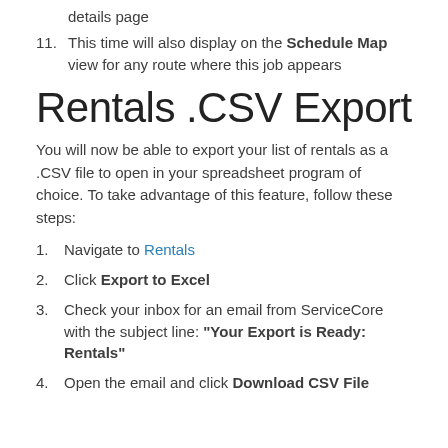details page
11. This time will also display on the Schedule Map view for any route where this job appears
Rentals .CSV Export
You will now be able to export your list of rentals as a .CSV file to open in your spreadsheet program of choice. To take advantage of this feature, follow these steps:
1. Navigate to Rentals
2. Click Export to Excel
3. Check your inbox for an email from ServiceCore with the subject line: "Your Export is Ready: Rentals"
4. Open the email and click Download CSV File